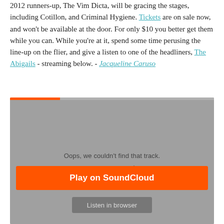2012 runners-up, The Vim Dicta, will be gracing the stages, including Cotillon, and Criminal Hygiene. Tickets are on sale now, and won't be available at the door. For only $10 you better get them while you can. While you're at it, spend some time perusing the line-up on the flier, and give a listen to one of the headliners, The Abigails - streaming below. - Jacqueline Caruso
[Figure (screenshot): Embedded SoundCloud player widget showing an error state: 'Oops, we couldn't find that track.' with SOUNDCLOUD branding, an orange 'Play on SoundCloud' button, and a gray 'Listen in browser' button.]